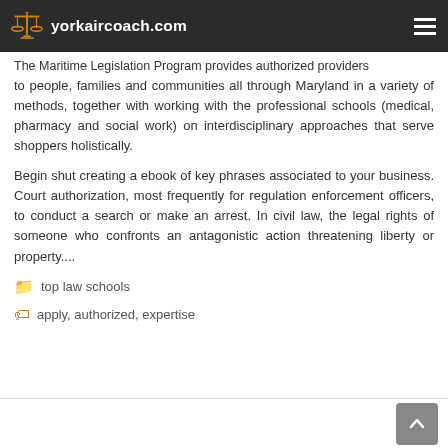yorkaircoach.com
The Maritime Legislation Program provides authorized providers to people, families and communities all through Maryland in a variety of methods, together with working with the professional schools (medical, pharmacy and social work) on interdisciplinary approaches that serve shoppers holistically.
Begin shut creating a ebook of key phrases associated to your business. Court authorization, most frequently for regulation enforcement officers, to conduct a search or make an arrest. In civil law, the legal rights of someone who confronts an antagonistic action threatening liberty or property....
top law schools
apply, authorized, expertise